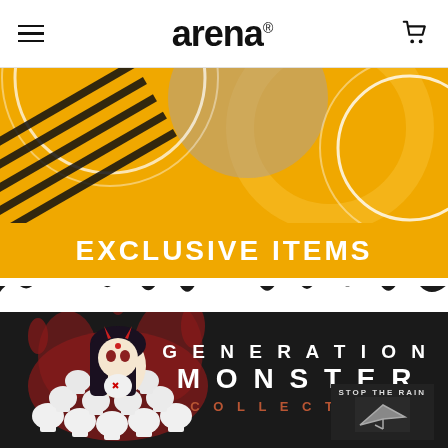arena
[Figure (illustration): Yellow banner with black circular and diagonal line art design, decorative graphic with concentric arcs and diagonal stripes on golden yellow background]
EXCLUSIVE ITEMS
[Figure (illustration): White torn paper edge effect separating yellow section from dark section]
[Figure (illustration): Dark background product illustration: anime-style demon girl character surrounded by skulls, text PRACTICALLY DEAD, with red splatter design. Generation Monster Collection branding on right side. Stop The Rain graphic partially visible bottom right.]